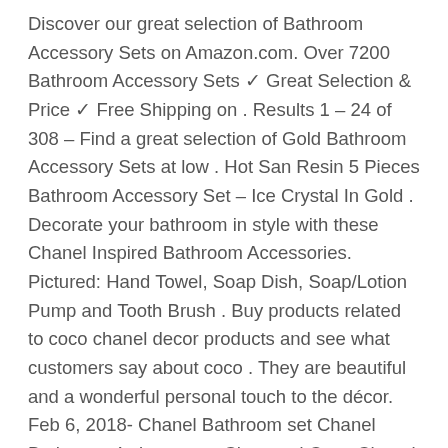Discover our great selection of Bathroom Accessory Sets on Amazon.com. Over 7200 Bathroom Accessory Sets ✓ Great Selection & Price ✓ Free Shipping on . Results 1 – 24 of 308 – Find a great selection of Gold Bathroom Accessory Sets at low . Hot San Resin 5 Pieces Bathroom Accessory Set – Ice Crystal In Gold . Decorate your bathroom in style with these Chanel Inspired Bathroom Accessories. Pictured: Hand Towel, Soap Dish, Soap/Lotion Pump and Tooth Brush . Buy products related to coco chanel decor products and see what customers say about coco . They are beautiful and a wonderful personal touch to the décor. Feb 6, 2018- Chanel Bathroom set Chanel Bathroom 4 piece set. . Chevrond Coco Chanel Shower Curtain design vintage custom gift birthdays present fashion favorites home living new hot super rare bathroom bath up . from amazon.com. coco chanel bathroom accessories